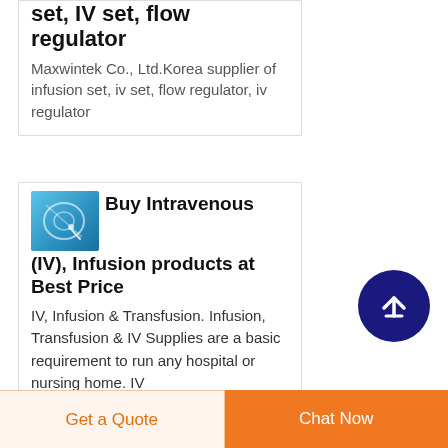set, IV set, flow regulator
Maxwintek Co., Ltd.Korea supplier of infusion set, iv set, flow regulator, iv regulator
[Figure (photo): Product image showing IV/infusion tubing or flow regulator on blue background]
Buy Intravenous (IV), Infusion products at Best Price
IV, Infusion & Transfusion. Infusion, Transfusion & IV Supplies are a basic requirement to run any hospital or nursing home. IV
[Figure (other): Circular scroll-to-top button with upward arrow, dark navy blue background]
Get a Quote
Chat Now